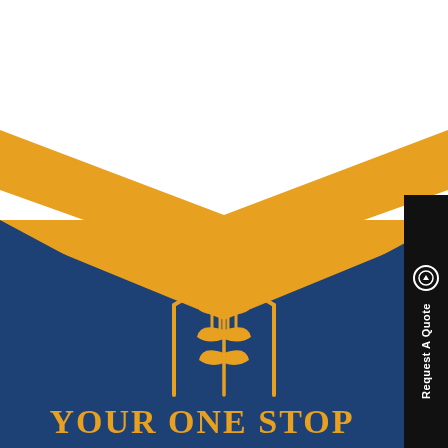[Figure (logo): Gold and navy chevron/M-shape design with a wheat/grain building logo mark in gold on navy background, forming a company branding illustration]
Request A Quote
Your One Stop